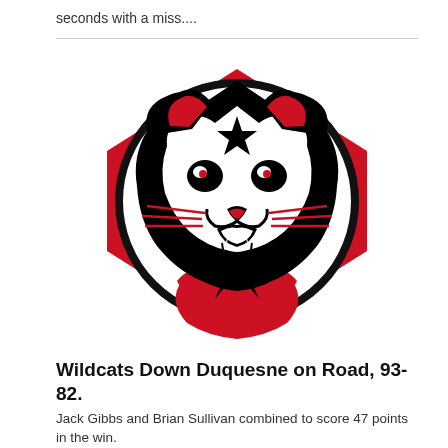seconds with a miss....
[Figure (logo): Davidson Wildcats athletic logo: a fierce wildcat face in black and white inside a circular border, set against a red diamond/hexagon shape background]
Wildcats Down Duquesne on Road, 93-82.
Jack Gibbs and Brian Sullivan combined to score 47 points in the win.